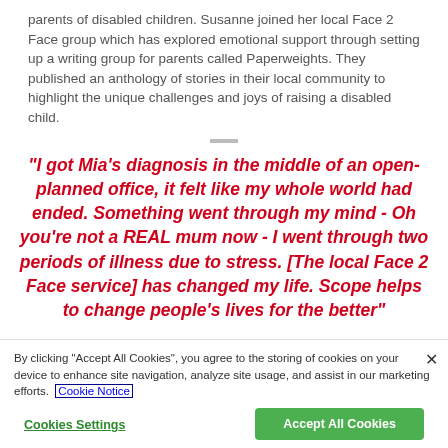parents of disabled children. Susanne joined her local Face 2 Face group which has explored emotional support through setting up a writing group for parents called Paperweights. They published an anthology of stories in their local community to highlight the unique challenges and joys of raising a disabled child.
“I got Mia’s diagnosis in the middle of an open-planned office, it felt like my whole world had ended. Something went through my mind - Oh you’re not a REAL mum now - I went through two periods of illness due to stress. [The local Face 2 Face service] has changed my life. Scope helps to change people’s lives for the better”
By clicking “Accept All Cookies”, you agree to the storing of cookies on your device to enhance site navigation, analyze site usage, and assist in our marketing efforts. Cookie Notice
Cookies Settings
Accept All Cookies